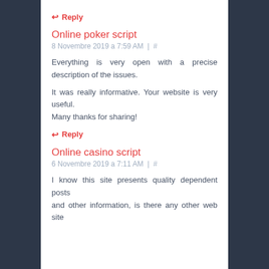↩ Reply
Online poker script
8 Novembre 2019 a 7:59 AM | #
Everything is very open with a precise description of the issues.
It was really informative. Your website is very useful.
Many thanks for sharing!
↩ Reply
Online casino script
6 Novembre 2019 a 7:11 AM | #
I know this site presents quality dependent posts and other information, is there any other web site